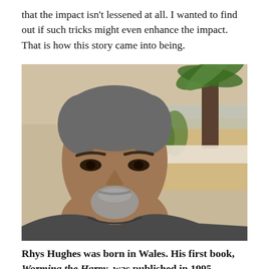that the impact isn't lessened at all. I wanted to find out if such tricks might even enhance the impact. That is how this story came into being.
[Figure (photo): Author photo: middle-aged man with grey-streaked hair and a grey goatee, wearing a dark grey t-shirt, looking intensely at the camera. Background shows a sandy beach scene with palm trees and desert vegetation.]
Rhys Hughes was born in Wales. His first book, Worming the Harpy, was published in 1995